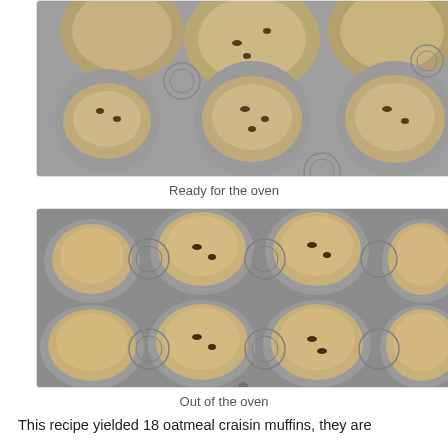[Figure (photo): Muffin batter in a silver muffin tin, ready to go into the oven. The cups are partially filled with oatmeal batter containing dark cranberry/raisin pieces.]
Ready for the oven
[Figure (photo): Baked oatmeal craisin muffins in a silver muffin tin, golden-brown tops, out of the oven. A full 12-muffin pan is shown.]
Out of the oven
This recipe yielded 18 oatmeal craisin muffins, they are